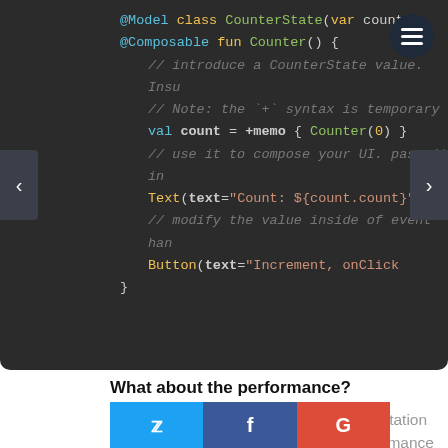[Figure (screenshot): Code editor screenshot showing Kotlin/Jetpack Compose code snippet with @Model class CounterState, @Composable fun Counter(), val count = +memo { Counter(0) }, Text(text="Count: ${count.count}"), Button(text="Increment, onClick... with navigation arrows and menu button]
What about the performance?
Even when they talk about the implementation of a list of components, and they take i... mance